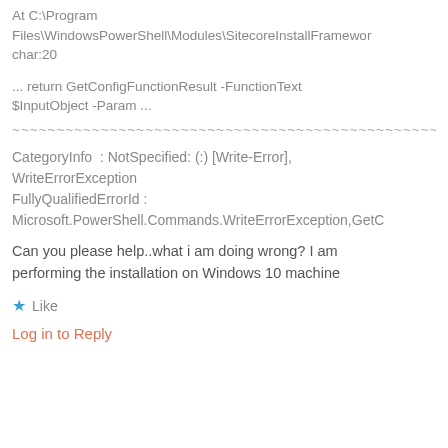At C:\Program Files\WindowsPowerShell\Modules\SitecoreInstallFramework char:20
... return GetConfigFunctionResult -FunctionText $InputObject -Param ...
~~~~~~~~~~~~~~~~~~~~~~~~~~~~~~~~~~~~~~~~~~~~~~~~~~~~~~~~~~~~~~~~~~~~
CategoryInfo : NotSpecified: (:) [Write-Error], WriteErrorException FullyQualifiedErrorId : Microsoft.PowerShell.Commands.WriteErrorException,GetC
Can you please help..what i am doing wrong? I am performing the installation on Windows 10 machine
Like
Log in to Reply